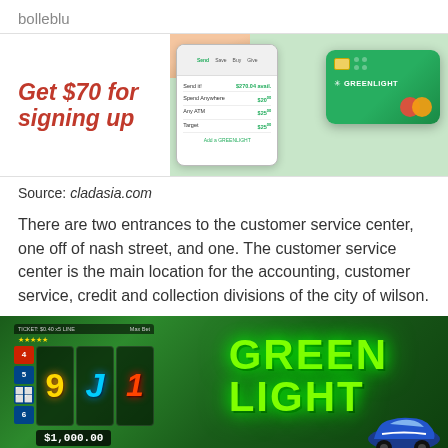bolleblu
[Figure (photo): Advertisement image showing 'Get $70 for signing up' text in red bold italic on left, with a smartphone app screenshot and a green Greenlight Mastercard debit card on the right]
Source: cladasia.com
There are two entrances to the customer service center, one off of nash street, and one. The customer service center is the main location for the accounting, customer service, credit and collection divisions of the city of wilson.
[Figure (photo): Green-themed slot machine / casino game screenshot showing 'GREEN LIGHT' text in glowing green letters with slot reels showing numbers 9, J symbols, a $1,000.00 display, and a blue race car on the right]